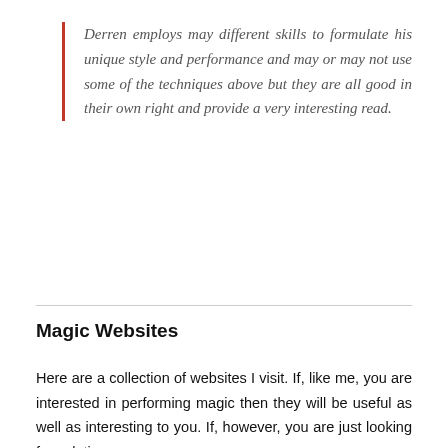Derren employs may different skills to formulate his unique style and performance and may or may not use some of the techniques above but they are all good in their own right and provide a very interesting read.
Magic Websites
Here are a collection of websites I visit. If, like me, you are interested in performing magic then they will be useful as well as interesting to you. If, however, you are just looking for solutions or